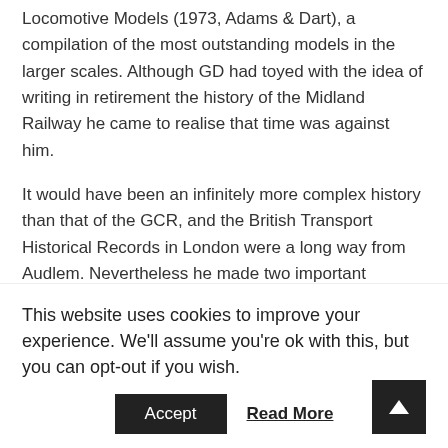Locomotive Models (1973, Adams & Dart), a compilation of the most outstanding models in the larger scales. Although GD had toyed with the idea of writing in retirement the history of the Midland Railway he came to realise that time was against him.
It would have been an infinitely more complex history than that of the GCR, and the British Transport Historical Records in London were a long way from Audlem. Nevertheless he made two important contributions to MR history.
The first was Midland Style, published in 1975. Subtitled
This website uses cookies to improve your experience. We'll assume you're ok with this, but you can opt-out if you wish.